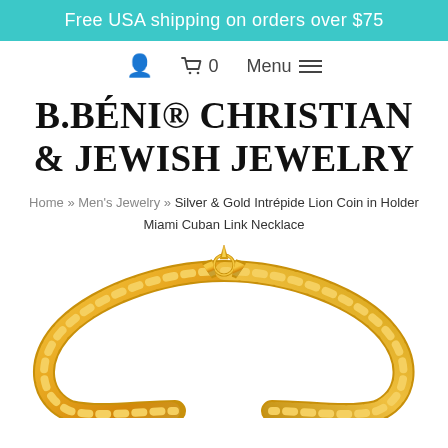Free USA shipping on orders over $75
🛒 0   Menu ≡
B.BÉNI® CHRISTIAN & JEWISH JEWELRY
Home » Men's Jewelry » Silver & Gold Intrépide Lion Coin in Holder Miami Cuban Link Necklace
[Figure (photo): Gold Miami Cuban Link Necklace with a spike clasp, shown as an open chain arc on white background]